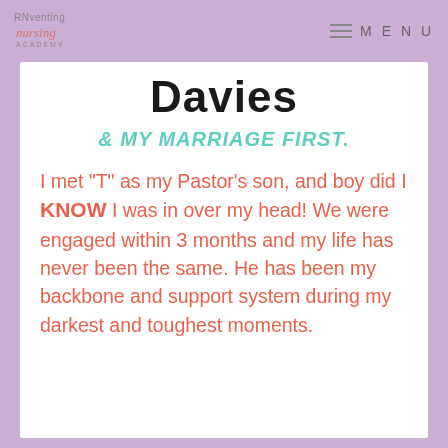RNventing Nursing Academy | MENU
Davies
& MY MARRIAGE FIRST.
I met "T" as my Pastor's son, and boy did I KNOW I was in over my head! We were engaged within 3 months and my life has never been the same. He has been my backbone and support system during my darkest and toughest moments.